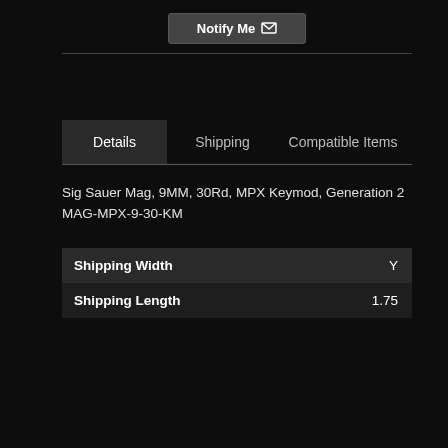[Figure (screenshot): Notify Me button with envelope icon at the top of the page on dark background]
Details
Shipping
Compatible Items
Sig Sauer Mag, 9MM, 30Rd, MPX Keymod, Generation 2
MAG-MPX-9-30-KM
|  |  |
| --- | --- |
| Shipping Width | Y |
| Shipping Length | 1.75 |